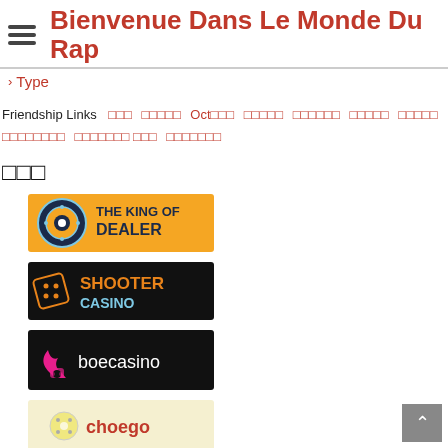Bienvenue Dans Le Monde Du Rap
> Type
Friendship Links  □□□  □□□□□  Oct□□□  □□□□□  □□□□□□  □□□□□  □□□□□  □□□□□□□□  □□□□□□□ □□□  □□□□□□□
□□□
[Figure (logo): The King of Dealer casino logo - circular target icon with text THE KING OF DEALER on orange/blue background]
[Figure (logo): Shooter Casino logo - dice icon with SHOOTER in orange text and CASINO in blue on black background]
[Figure (logo): boecasino logo - pink flame/diamond icon with boecasino text on black background]
[Figure (logo): choego casino logo - partially visible, yellow/cream background with red text]